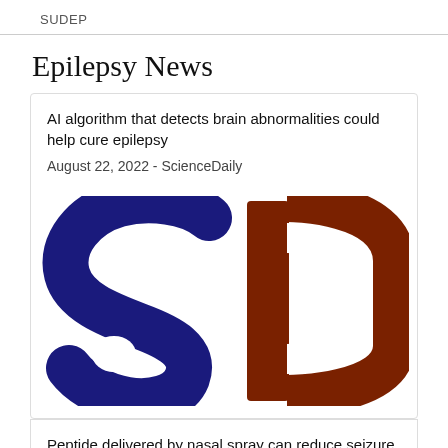SUDEP
Epilepsy News
AI algorithm that detects brain abnormalities could help cure epilepsy
August 22, 2022 - ScienceDaily
[Figure (logo): ScienceDaily logo with large blue letter S and brown letter D in bold stylized font]
Peptide delivered by nasal spray can reduce seizure activity, protect neurons in Alzheimer's, epilepsy